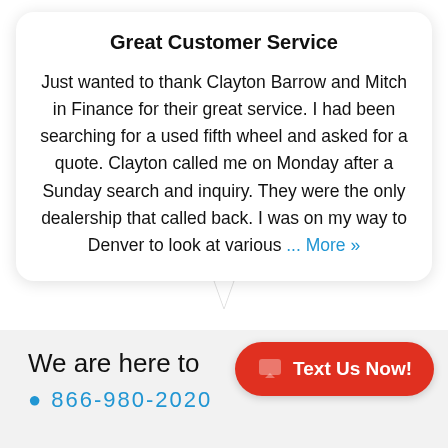Great Customer Service
Just wanted to thank Clayton Barrow and Mitch in Finance for their great service. I had been searching for a used fifth wheel and asked for a quote. Clayton called me on Monday after a Sunday search and inquiry. They were the only dealership that called back. I was on my way to Denver to look at various ... More »
Chris from Grand Lake, CO
We are here to
Text Us Now!
866-980-2020